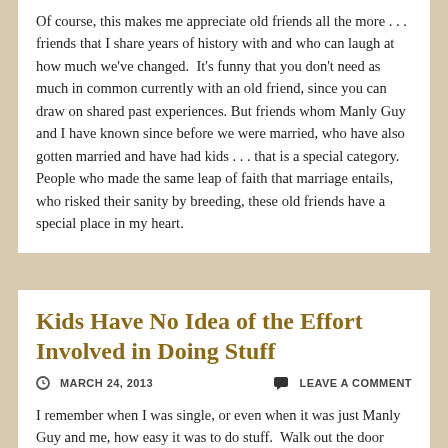Of course, this makes me appreciate old friends all the more . . . friends that I share years of history with and who can laugh at how much we've changed. It's funny that you don't need as much in common currently with an old friend, since you can draw on shared past experiences. But friends whom Manly Guy and I have known since before we were married, who have also gotten married and have had kids . . . that is a special category. People who made the same leap of faith that marriage entails, who risked their sanity by breeding, these old friends have a special place in my heart.
Kids Have No Idea of the Effort Involved in Doing Stuff
MARCH 24, 2013   LEAVE A COMMENT
I remember when I was single, or even when it was just Manly Guy and me, how easy it was to do stuff. Walk out the door with a purse (or, for a guy, wallet and phone) and you're